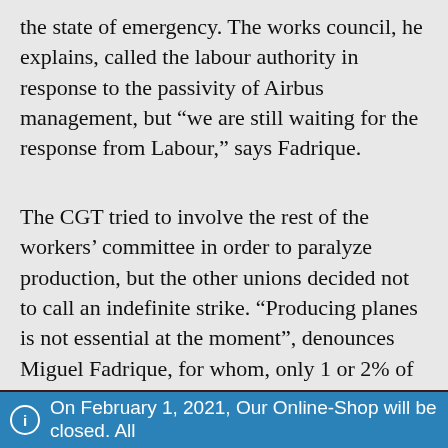the state of emergency. The works council, he explains, called the labour authority in response to the passivity of Airbus management, but “we are still waiting for the response from Labour,” says Fadrique.
The CGT tried to involve the rest of the workers’ committee in order to paralyze production, but the other unions decided not to call an indefinite strike. “Producing planes is not essential at the moment”, denounces Miguel Fadrique, for whom, only 1 or 2% of the workforce would be needed on such occasions to work on the maintenance
On February 1, 2021, Our Online-Shop will be closed. All orders until January 31 will be delivered
Dismiss
We use cookies to ensure that we give you the best experience on our website. If you continue to use this site we will assume that you are happy with it.
Ok